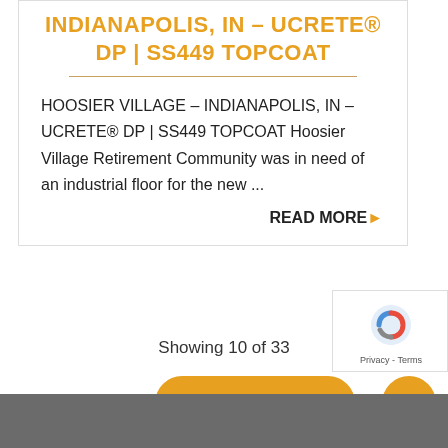INDIANAPOLIS, IN – UCRETE® DP | SS449 TOPCOAT
HOOSIER VILLAGE – INDIANAPOLIS, IN – UCRETE® DP | SS449 TOPCOAT Hoosier Village Retirement Community was in need of an industrial floor for the new ...
READ MORE ▶
Showing 10 of 33
Load More